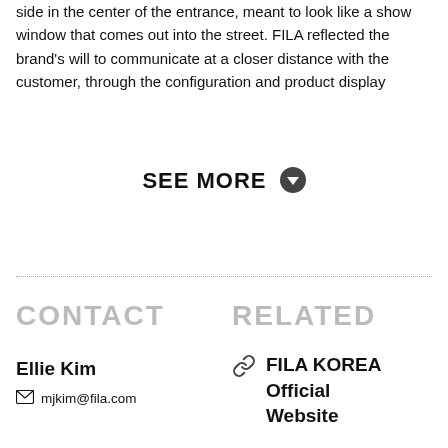side in the center of the entrance, meant to look like a show window that comes out into the street. FILA reflected the brand's will to communicate at a closer distance with the customer, through the configuration and product display
SEE MORE ❯
CONTACT
RELATED
Ellie Kim
mjkim@fila.com
FILA KOREA Official Website